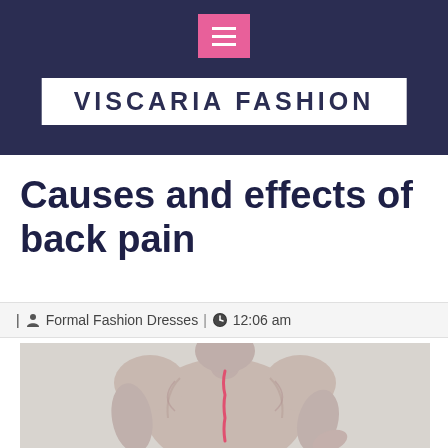VISCARIA FASHION
Causes and effects of back pain
| Formal Fashion Dresses | 12:06 am
[Figure (photo): Person viewed from behind showing their bare back, with one hand reaching behind to touch their lower back, indicating back pain. The spine is highlighted in red/pink. Black and white photo with a light grey background.]